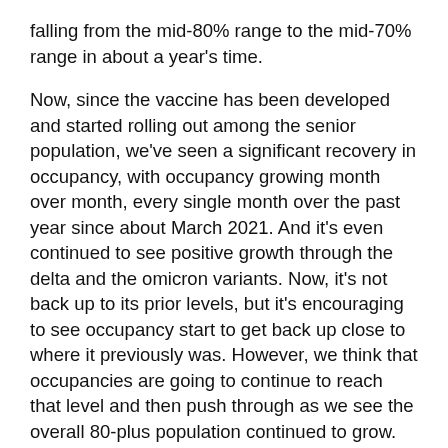falling from the mid-80% range to the mid-70% range in about a year's time.
Now, since the vaccine has been developed and started rolling out among the senior population, we've seen a significant recovery in occupancy, with occupancy growing month over month, every single month over the past year since about March 2021. And it's even continued to see positive growth through the delta and the omicron variants. Now, it's not back up to its prior levels, but it's encouraging to see occupancy start to get back up close to where it previously was. However, we think that occupancies are going to continue to reach that level and then push through as we see the overall 80-plus population continued to grow. The baby boomers are just starting to age into the target age for these facilities. And so, while the past decade, we saw the 80-plus population